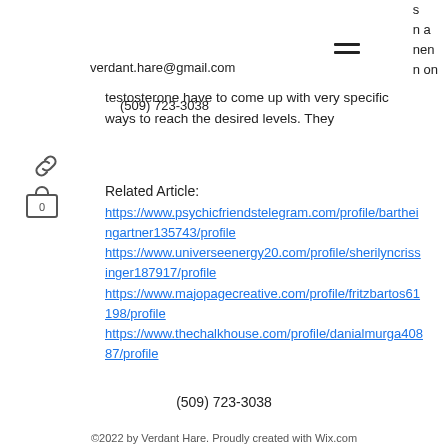s
n a
nen
n on
verdant.hare@gmail.com
(509) 723-3038
testosterone have to come up with very specific ways to reach the desired levels. They
Related Article:
https://www.psychicfriendstelegram.com/profile/bartheingartner135743/profile
https://www.universeenergy20.com/profile/sherilyncrissinger187917/profile
https://www.majopagecreative.com/profile/fritzbartos61198/profile
https://www.thechalkhouse.com/profile/danialmurga40887/profile
(509) 723-3038
©2022 by Verdant Hare. Proudly created with Wix.com